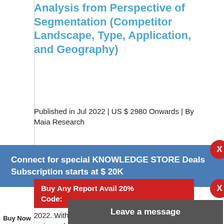Analysis from Perspective of Segmentation (Competitor Landscape, Type, Application, and Geography)
Published in Jul 2022 | US $ 2980 Onwards | By Maia Research
Connect for special KNOWLEDGE STORE Deals Subscription starts at $ 20K
USD XX million to USD XX million from 2017 to 2022. With the CAGR of X.X%, this market is estimated to reach USD XX million in 2028. The report focuses
Buy Any Report Avail 20% Code:
Leave a message
Buy Now